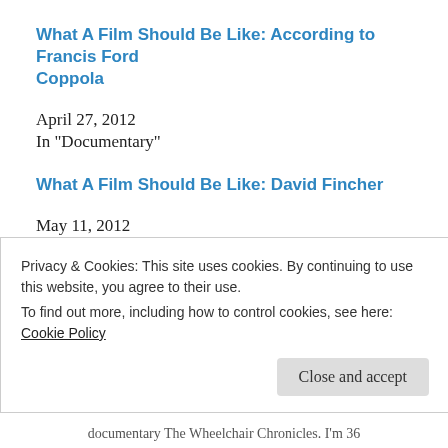What A Film Should Be Like: According to Francis Ford Coppola
April 27, 2012
In "Documentary"
What A Film Should Be Like: David Fincher
May 11, 2012
In "David Fincher"
A Huge Accomplishment In My Life
November 26, 2012
In "Documentary"
Privacy & Cookies: This site uses cookies. By continuing to use this website, you agree to their use.
To find out more, including how to control cookies, see here:
Cookie Policy
Close and accept
documentary The Wheelchair Chronicles. I'm 36